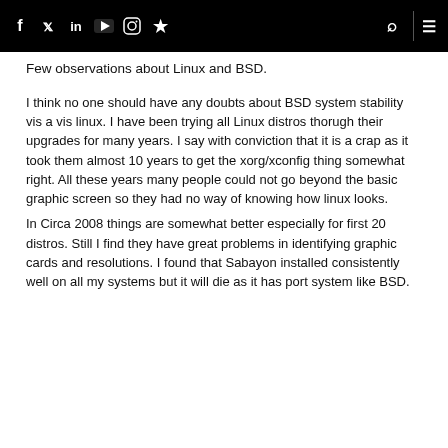Social media icons (f, Twitter, in, YouTube, Instagram, RSS) on left; search icon and menu icon on right
Few observations about Linux and BSD.
I think no one should have any doubts about BSD system stability vis a vis linux. I have been trying all Linux distros thorugh their upgrades for many years. I say with conviction that it is a crap as it took them almost 10 years to get the xorg/xconfig thing somewhat right. All these years many people could not go beyond the basic graphic screen so they had no way of knowing how linux looks.
In Circa 2008 things are somewhat better especially for first 20 distros. Still I find they have great problems in identifying graphic cards and resolutions. I found that Sabayon installed consistently well on all my systems but it will die as it has port system like BSD.